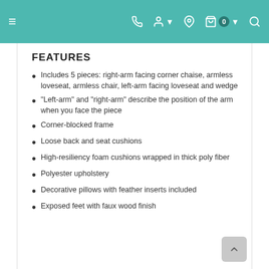Navigation bar with hamburger menu, phone, account, location, cart (0), and search icons
FEATURES
Includes 5 pieces: right-arm facing corner chaise, armless loveseat, armless chair, left-arm facing loveseat and wedge
"Left-arm" and "right-arm" describe the position of the arm when you face the piece
Corner-blocked frame
Loose back and seat cushions
High-resiliency foam cushions wrapped in thick poly fiber
Polyester upholstery
Decorative pillows with feather inserts included
Exposed feet with faux wood finish